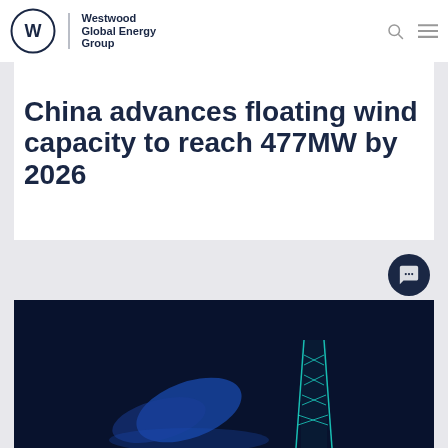Westwood Global Energy Group
China advances floating wind capacity to reach 477MW by 2026
[Figure (photo): Dark blue-toned photo of offshore wind turbine / floating wind structure at night, with glowing blue structural silhouette against dark background]